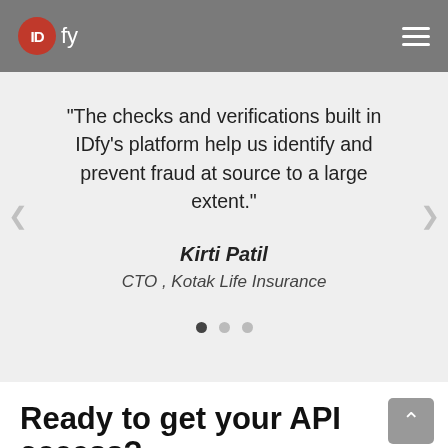IDfy
"The checks and verifications built in IDfy's platform help us identify and prevent fraud at source to a large extent."
Kirti Patil
CTO , Kotak Life Insurance
Ready to get your API access?